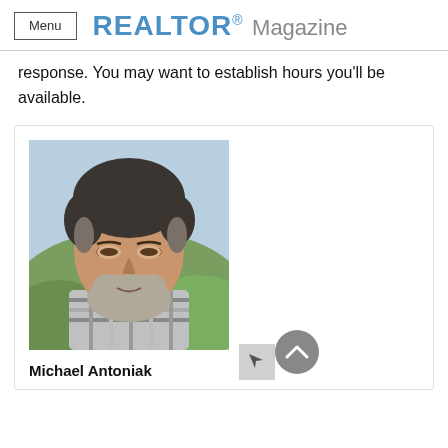Menu   REALTOR® Magazine
response. You may want to establish hours you'll be available.
[Figure (photo): Headshot photo of a middle-aged man with dark gray hair and a beard, wearing a plaid shirt, smiling, with a blurred outdoor background.]
Michael Antoniak